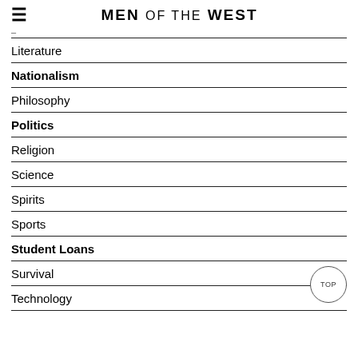MEN OF THE WEST
Literature
Nationalism
Philosophy
Politics
Religion
Science
Spirits
Sports
Student Loans
Survival
Technology